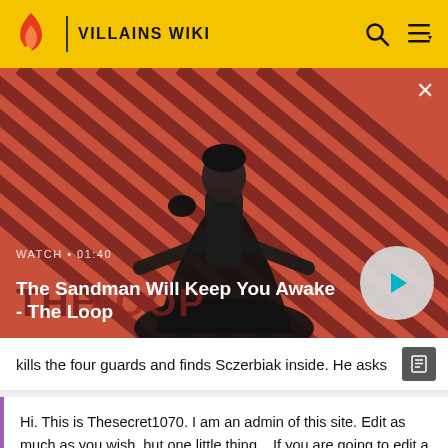VILLAINS WIKI
[Figure (screenshot): Video thumbnail showing a dark figure with a raven on their shoulder against a red and black diagonal striped background. Title reads 'The Sandman Will Keep You Awake - The Loop'. Watch duration shown as 01:40.]
kills the four guards and finds Sczerbiak inside. He asks
Hi. This is Thesecret1070. I am an admin of this site. Edit as much as you wish, but one little thing... If you are going to edit a lot, then make yourself a user and login. Other than that, enjoy Villains Wiki!!!